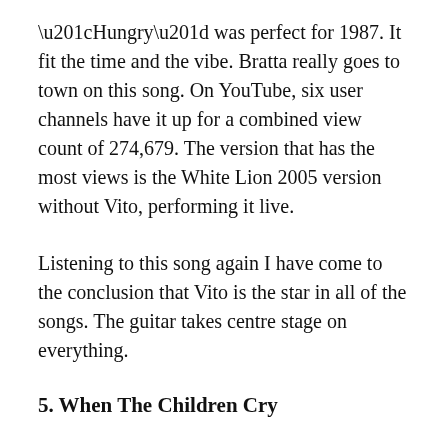“Hungry” was perfect for 1987. It fit the time and the vibe. Bratta really goes to town on this song. On YouTube, six user channels have it up for a combined view count of 274,679. The version that has the most views is the White Lion 2005 version without Vito, performing it live.
Listening to this song again I have come to the conclusion that Vito is the star in all of the songs. The guitar takes centre stage on everything.
5. When The Children Cry